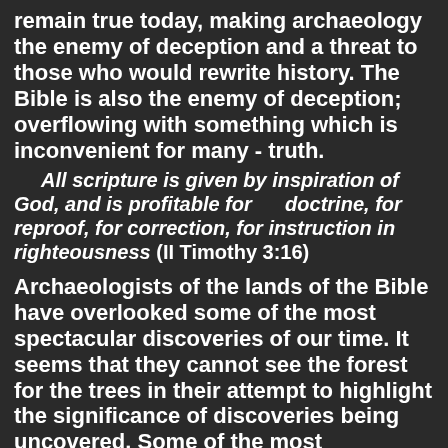remain true today, making archaeology the enemy of deception and a threat to those who would rewrite history. The Bible is also the enemy of deception; overflowing with something which is inconvenient for many - truth.
All scripture is given by inspiration of God, and is profitable for doctrine, for reproof, for correction, for instruction in righteousness (II Timothy 3:16)
Archaeologists of the lands of the Bible have overlooked some of the most spectacular discoveries of our time. It seems that they cannot see the forest for the trees in their attempt to highlight the significance of discoveries being uncovered. Some of the most spectacular finds are set aside or go unnoticed for years before their true significance is revealed. King Hezekiah's